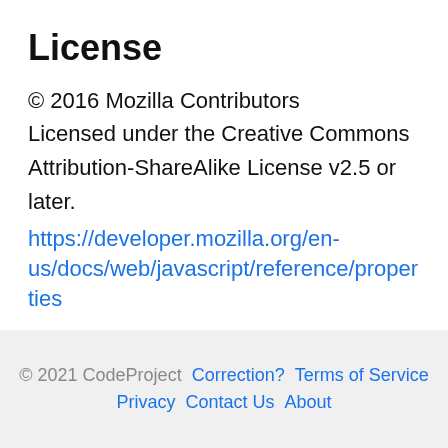License
© 2016 Mozilla Contributors
Licensed under the Creative Commons Attribution-ShareAlike License v2.5 or later.
https://developer.mozilla.org/en-us/docs/web/javascript/reference/properties
JavaScript
© 2021 CodeProject  Correction?  Terms of Service  Privacy  Contact Us  About